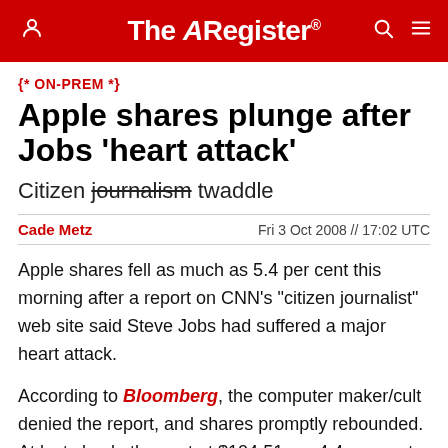The Register
{* ON-PREM *}
Apple shares plunge after Jobs 'heart attack'
Citizen journalism twaddle
Cade Metz   Fri 3 Oct 2008 // 17:02 UTC
Apple shares fell as much as 5.4 per cent this morning after a report on CNN's "citizen journalist" web site said Steve Jobs had suffered a major heart attack.
According to Bloomberg, the computer maker/cult denied the report, and shares promptly rebounded. At last check, they sat at $104.51, up 4.4 per cent in trading on the NASDAQ exchange.